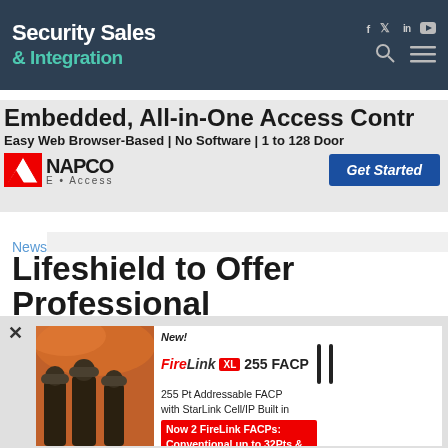Security Sales & Integration
[Figure (screenshot): NAPCO E-Access advertisement banner: Embedded, All-in-One Access Control. Easy Web Browser-Based | No Software | 1 to 128 Doors. NAPCO E-Access logo with Get Started button.]
News
Lifeshield to Offer Professional
[Figure (screenshot): FireLink XL 255 FACP advertisement. New! FireLink XL 255 FACP. 255 Pt Addressable FACP with StarLink Cell/IP Built in. Now 2 FireLink FACPs: Conventional up to 32Pts & New XL 255 Addressable Pts. Shows firefighters and product image.]